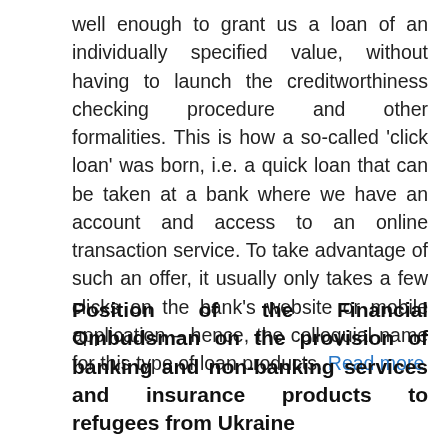well enough to grant us a loan of an individually specified value, without having to launch the creditworthiness checking procedure and other formalities. This is how a so-called 'click loan' was born, i.e. a quick loan that can be taken at a bank where we have an account and access to an online transaction service. To take advantage of such an offer, it usually only takes a few clicks on the bank's website or mobile application – hence, the colloquial name for this type of loan products. Read more
Position of the Financial Ombudsman on the provision of banking and non-banking services and insurance products to refugees from Ukraine